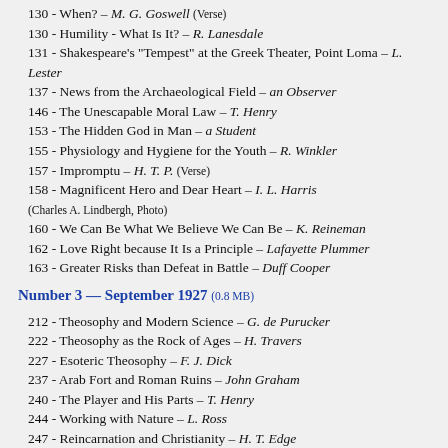130 - When? – M. G. Goswell (Verse)
130 - Humility - What Is It? – R. Lanesdale
131 - Shakespeare's "Tempest" at the Greek Theater, Point Loma – L. Lester
137 - News from the Archaeological Field – an Observer
146 - The Unescapable Moral Law – T. Henry
153 - The Hidden God in Man – a Student
155 - Physiology and Hygiene for the Youth – R. Winkler
157 - Impromptu – H. T. P. (Verse)
158 - Magnificent Hero and Dear Heart – I. L. Harris
(Charles A. Lindbergh, Photo)
160 - We Can Be What We Believe We Can Be – K. Reineman
162 - Love Right because It Is a Principle – Lafayette Plummer
163 - Greater Risks than Defeat in Battle – Duff Cooper
Number 3 — September 1927  (0.8 MB)
212 - Theosophy and Modern Science – G. de Purucker
222 - Theosophy as the Rock of Ages – H. Travers
227 - Esoteric Theosophy – F. J. Dick
237 - Arab Fort and Roman Ruins – John Graham
240 - The Player and His Parts – T. Henry
244 - Working with Nature – L. Ross
247 - Reincarnation and Christianity – H. T. Edge